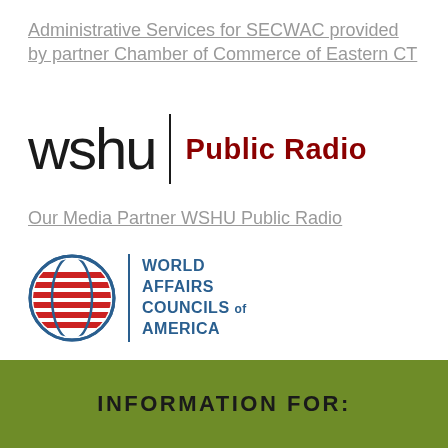Administrative Services for SECWAC provided by partner Chamber of Commerce of Eastern CT
[Figure (logo): WSHU Public Radio logo: 'wshu' in large light font, vertical bar divider, 'Public Radio' in bold dark red]
Our Media Partner WSHU Public Radio
[Figure (logo): World Affairs Councils of America logo: globe icon with red horizontal stripes, vertical blue bar divider, text 'WORLD AFFAIRS COUNCILS of AMERICA' in blue]
Member of World Affairs Councils of America
INFORMATION FOR: